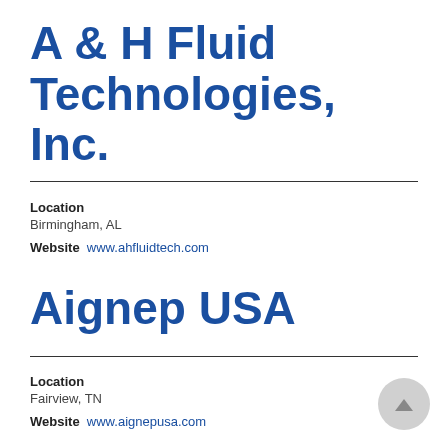A & H Fluid Technologies, Inc.
Location
Birmingham, AL
Website  www.ahfluidtech.com
Aignep USA
Location
Fairview, TN
Website  www.aignepusa.com